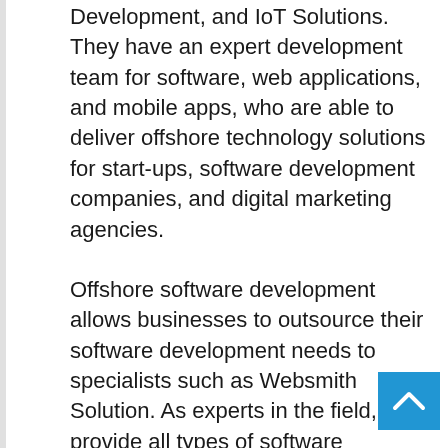Development, and IoT Solutions. They have an expert development team for software, web applications, and mobile apps, who are able to deliver offshore technology solutions for start-ups, software development companies, and digital marketing agencies.
Offshore software development allows businesses to outsource their software development needs to specialists such as Websmith Solution. As experts in the field, they provide all types of software development services from simplified coding to complex digital transformations. As an established outsourcing web design company in India, Websmith Solution offers innovative project management methodologies to a wide customer base, ensuring that all project and technology